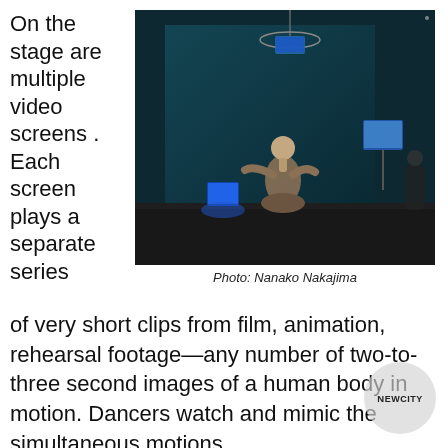On the stage are multiple video screens . Each screen plays a separate series
[Figure (photo): A dancer kneeling on a dark stage looking upward, with multiple video screens visible including one suspended from above, one on a stand to the right, and one on the floor to the left. The background shows a large dark teal projection screen.]
Photo: Nanako Nakajima
of very short clips from film, animation, rehearsal footage—any number of two-to-three second images of a human body in motion. Dancers watch and mimic the simultaneous motions